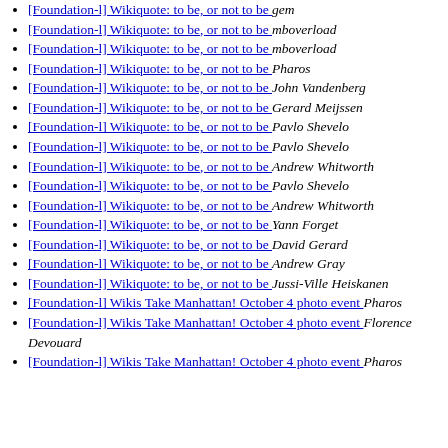[Foundation-l] Wikiquote: to be, or not to be  gem
[Foundation-l] Wikiquote: to be, or not to be  mboverload
[Foundation-l] Wikiquote: to be, or not to be  mboverload
[Foundation-l] Wikiquote: to be, or not to be  Pharos
[Foundation-l] Wikiquote: to be, or not to be  John Vandenberg
[Foundation-l] Wikiquote: to be, or not to be  Gerard Meijssen
[Foundation-l] Wikiquote: to be, or not to be  Pavlo Shevelo
[Foundation-l] Wikiquote: to be, or not to be  Pavlo Shevelo
[Foundation-l] Wikiquote: to be, or not to be  Andrew Whitworth
[Foundation-l] Wikiquote: to be, or not to be  Pavlo Shevelo
[Foundation-l] Wikiquote: to be, or not to be  Andrew Whitworth
[Foundation-l] Wikiquote: to be, or not to be  Yann Forget
[Foundation-l] Wikiquote: to be, or not to be  David Gerard
[Foundation-l] Wikiquote: to be, or not to be  Andrew Gray
[Foundation-l] Wikiquote: to be, or not to be  Jussi-Ville Heiskanen
[Foundation-l] Wikis Take Manhattan! October 4 photo event  Pharos
[Foundation-l] Wikis Take Manhattan! October 4 photo event  Florence Devouard
[Foundation-l] Wikis Take Manhattan! October 4 photo event  Pharos